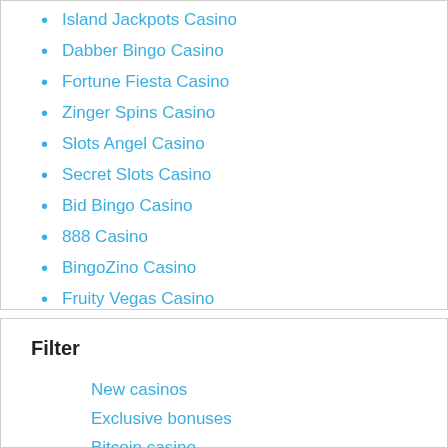Island Jackpots Casino
Dabber Bingo Casino
Fortune Fiesta Casino
Zinger Spins Casino
Slots Angel Casino
Secret Slots Casino
Bid Bingo Casino
888 Casino
BingoZino Casino
Fruity Vegas Casino
Filter
New casinos
Exclusive bonuses
Bitcoin casino